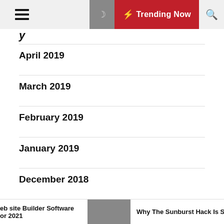☰  🌙  ⚡ Trending Now  🔍
April 2019
March 2019
February 2019
January 2019
December 2018
November 2018
October 2018
eb site Builder Software or 2021  |  Why The Sunburst Hack Is So